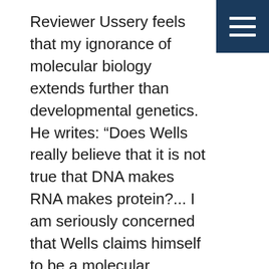[Figure (other): Navigation menu icon (hamburger) — three horizontal white bars on dark navy blue square background, top-right corner]
Reviewer Ussery feels that my ignorance of molecular biology extends further than developmental genetics. He writes: “Does Wells really believe that it is not true that DNA makes RNA makes protein?... I am seriously concerned that Wells claims himself to be a molecular biologist.” (Ussery, p. 74)
Of course, I have never implied that DNA doesn’t make RNA, or that RNA doesn’t make protein. In fact, a main point of my chapter on the four-winged fruit fly is precisely that DNA (through RNA) does make